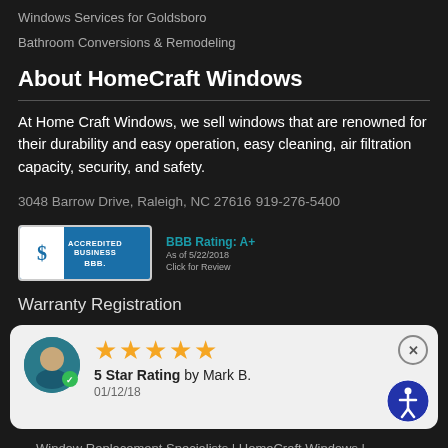Windows Services for Goldsboro
Bathroom Conversions & Remodeling
About HomeCraft Windows
At Home Craft Windows, we sell windows that are renowned for their durability and easy operation, easy cleaning, air filtration capacity, security, and safety.
3048 Barrow Drive, Raleigh, NC 27616
919-276-5400
[Figure (logo): BBB Accredited Business badge with BBB Rating: A+ text beside it]
Warranty Registration
[Figure (infographic): Review card showing 5 star rating by Mark B., dated 01/12/18, with avatar and accessibility icon]